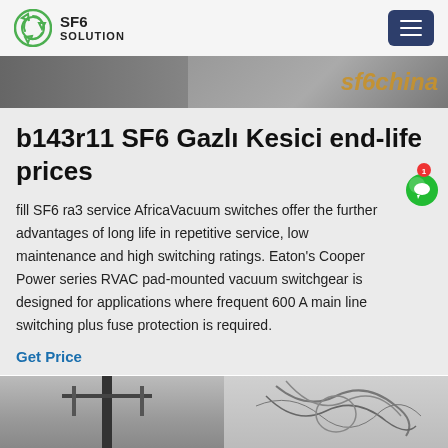SF6 SOLUTION
[Figure (photo): Partial view of SF6 machinery/equipment with 'sf6china' text overlay in orange italic]
b143r11 SF6 Gazlı Kesici end-life prices
fill SF6 ra3 service AfricaVacuum switches offer the further advantages of long life in repetitive service, low maintenance and high switching ratings. Eaton's Cooper Power series RVAC pad-mounted vacuum switchgear is designed for applications where frequent 600 A main line switching plus fuse protection is required.
Get Price
[Figure (photo): Bottom image strip showing two photos of electrical switchgear/power line equipment]